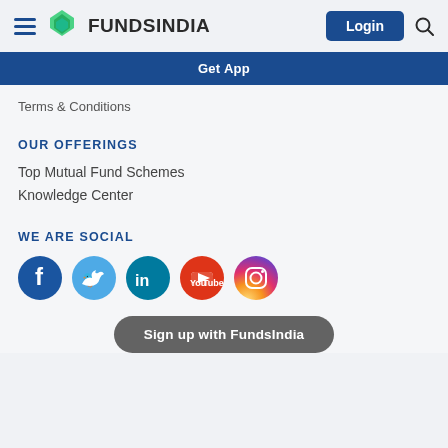FundsIndia — Login
Get App
Terms & Conditions
OUR OFFERINGS
Top Mutual Fund Schemes
Knowledge Center
WE ARE SOCIAL
[Figure (illustration): Social media icon buttons: Facebook, Twitter, LinkedIn, YouTube, Instagram]
Sign up with FundsIndia